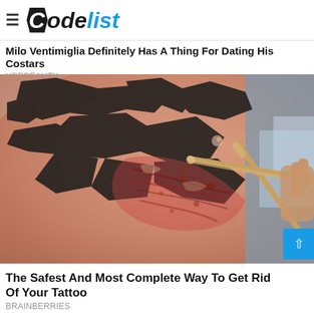CodeList
Milo Ventimiglia Definitely Has A Thing For Dating His Costars
HERBEAUTY
[Figure (photo): Close-up photo of a person's shoulder with a black tribal tattoo being treated or cleaned with a wooden stick/swab, showing redness and irritated skin around the tattoo area.]
The Safest And Most Complete Way To Get Rid Of Your Tattoo
BRAINBERRIES